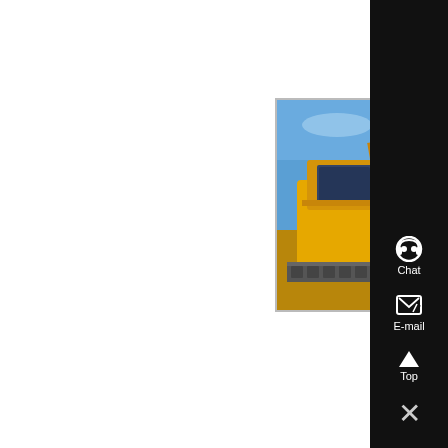[Figure (photo): A yellow heavy construction machine (bulldozer/excavator) with a person standing on top, photographed against a blue sky.]
Used Diamond crushers for sale at Mascus Canada
In this section you will find all the classified ads for the used Diamond crushers available for sale , List a private ad Dealer inquiries/info;